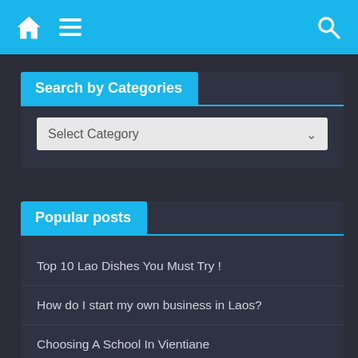[Figure (screenshot): Mobile website navigation bar with home icon, hamburger menu, and search icon on a cyan/blue background]
Search by Categories
[Figure (screenshot): Dropdown select input labeled 'Select Category' with a chevron arrow]
Popular posts
Top 10 Lao Dishes You Must Try !
How do I start my own business in Laos?
Choosing A School In Vientiane
Medical Situation in Vientiane
Do's & Don't If You Have An...